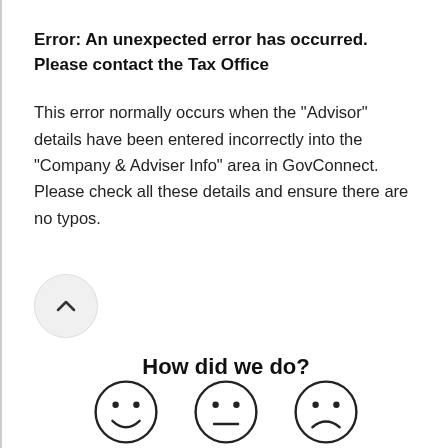Error: An unexpected error has occurred. Please contact the Tax Office
This error normally occurs when the "Advisor" details have been entered incorrectly into the "Company & Adviser Info" area in GovConnect. Please check all these details and ensure there are no typos.
[Figure (other): Scroll-up button: circular grey button with upward chevron (^) icon]
How did we do?
[Figure (illustration): Three emoji-style faces: happy (smiling), neutral, and sad (frowning), each in a circle, partially visible at bottom of page]